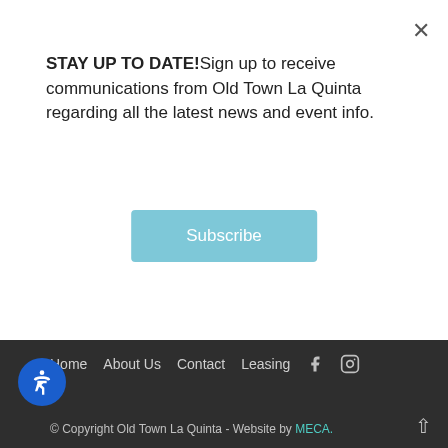STAY UP TO DATE!Sign up to receive communications from Old Town La Quinta regarding all the latest news and event info.
Subscribe
[Figure (photo): A white plate with food items including what appears to be a salad with orange slices and greens]
Home  About Us  Contact  Leasing  [Facebook icon]  [Instagram icon]  © Copyright Old Town La Quinta - Website by MECA.